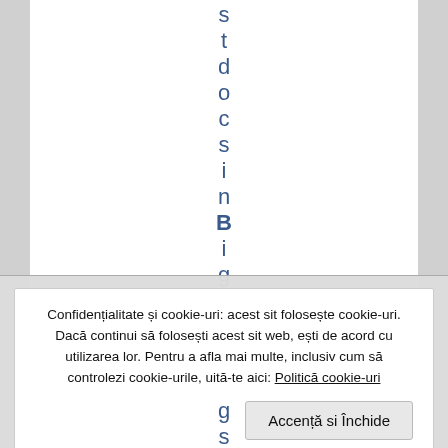s t d o c s i n B i g D a t ă
Confidențialitate și cookie-uri: acest sit folosește cookie-uri. Dacă continui să folosești acest sit web, ești de acord cu utilizarea lor. Pentru a afla mai multe, inclusiv cum să controlezi cookie-urile, uită-te aici: Politică cookie-uri
Accență si Închide
g s